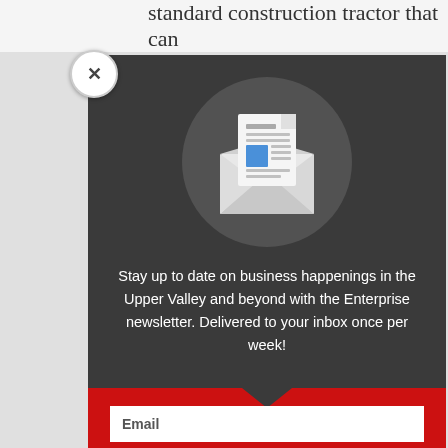standard construction tractor that can
[Figure (illustration): Newsletter signup modal popup with dark background, envelope icon with document inside, descriptive text, and email input field]
Stay up to date on business happenings in the Upper Valley and beyond with the Enterprise newsletter. Delivered to your inbox once per week!
Email